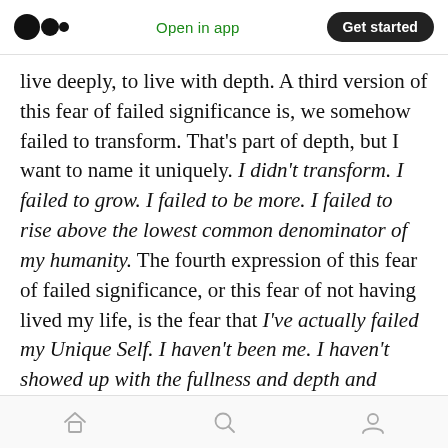Medium logo | Open in app | Get started
live deeply, to live with depth. A third version of this fear of failed significance is, we somehow failed to transform. That’s part of depth, but I want to name it uniquely. I didn’t transform. I failed to grow. I failed to be more. I failed to rise above the lowest common denominator of my humanity. The fourth expression of this fear of failed significance, or this fear of not having lived my life, is the fear that I’ve actually failed my Unique Self. I haven’t been me. I haven’t showed up with the fullness and depth and radiance and goodness and splendor and truth and beauty that’s
Home | Search | Profile